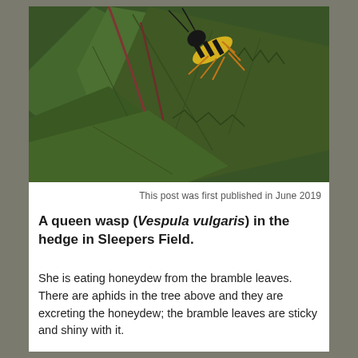[Figure (photo): Close-up macro photograph of a yellow and black queen wasp (Vespula vulgaris) on dark green serrated bramble leaves, with reddish stems visible.]
This post was first published in June 2019
A queen wasp (Vespula vulgaris) in the hedge in Sleepers Field.
She is eating honeydew from the bramble leaves. There are aphids in the tree above and they are excreting the honeydew; the bramble leaves are sticky and shiny with it.